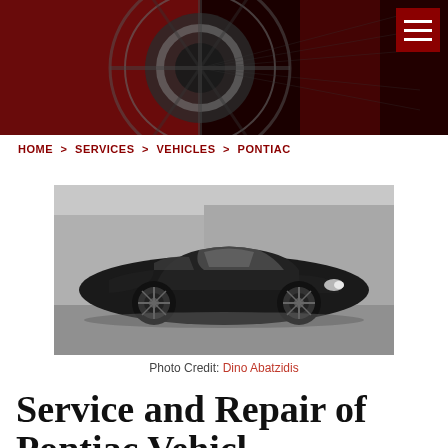[Figure (photo): Dark red/maroon header banner showing a close-up of a car wheel/brake disc with motion blur effect. Hamburger menu icon in top-right corner on red background.]
HOME > SERVICES > VEHICLES > PONTIAC
[Figure (photo): Black and white photograph of a dark Pontiac GTO coupe parked on a gravel/concrete surface with industrial buildings in background.]
Photo Credit: Dino Abatzidis
Service and Repair of Pontiac Vehic...